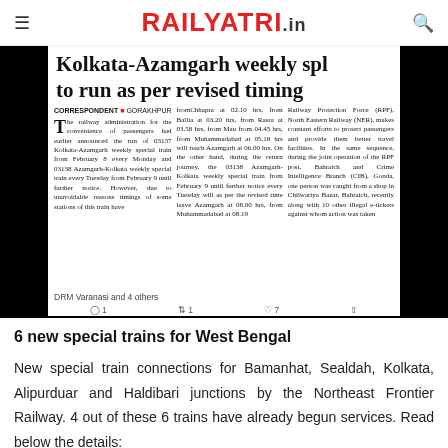RAILYATRI.in
[Figure (screenshot): Screenshot of a newspaper article showing headline 'Kolkata-Azamgarh weekly spl to run as per revised timing' with correspondent byline GORAKHPUR and three columns of article text, followed by tweet interaction counts: 1 comment, 1 retweet, 7 likes. Footer: DRM Varanasi and 4 others.]
6 new special trains for West Bengal
New special train connections for Bamanhat, Sealdah, Kolkata, Alipurduar and Haldibari junctions by the Northeast Frontier Railway. 4 out of these 6 trains have already begun services. Read below the details: